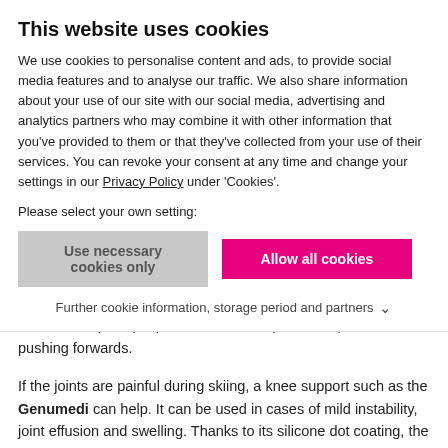This website uses cookies
We use cookies to personalise content and ads, to provide social media features and to analyse our traffic. We also share information about your use of our site with our social media, advertising and analytics partners who may combine it with other information that you've provided to them or that they've collected from your use of their services. You can revoke your consent at any time and change your settings in our Privacy Policy under 'Cookies'.
Please select your own setting:
Use necessary cookies only | Allow all cookies
Further cookie information, storage period and partners
knee during the rehabilitation phase. The 4-point stabilisation principle prevents the tibia (shin bone) from pushing forwards.
If the joints are painful during skiing, a knee support such as the Genumedi can help. It can be used in cases of mild instability, joint effusion and swelling. Thanks to its silicone dot coating, the support adheres well to the leg; the open border enclosing the patella allows a comfortable reduction in pressure.